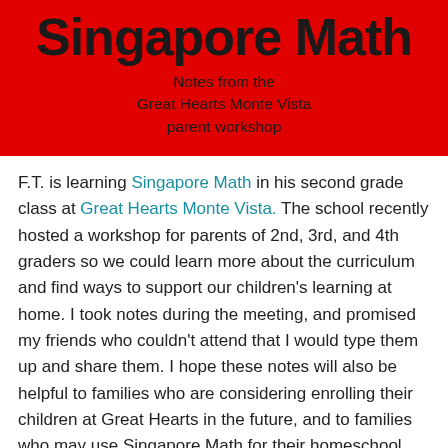Singapore Math
Notes from the Great Hearts Monte Vista parent workshop
F.T. is learning Singapore Math in his second grade class at Great Hearts Monte Vista. The school recently hosted a workshop for parents of 2nd, 3rd, and 4th graders so we could learn more about the curriculum and find ways to support our children's learning at home. I took notes during the meeting, and promised my friends who couldn't attend that I would type them up and share them. I hope these notes will also be helpful to families who are considering enrolling their children at Great Hearts in the future, and to families who may use Singapore Math for their homeschool curriculum. If this blog post has mistakes, please blame me, not the teachers. Likewise, this blog post does not do justice to the more